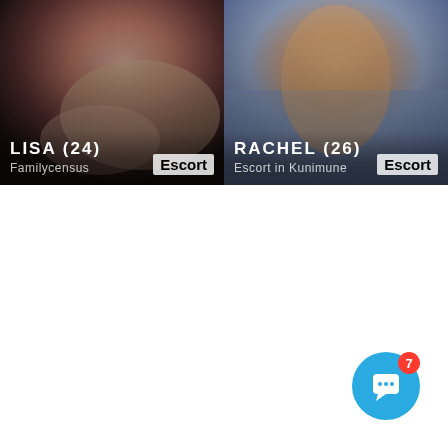[Figure (photo): Two side-by-side profile cards. Left card shows a close-up photo of a woman lying down with text 'LISA (24)', subtitle 'Familycensus', and badge 'Escort'. Right card shows a photo of a woman in a bikini near water with text 'RACHEL (26)', subtitle 'Escort in Kunimune', and badge 'Escort'.]
[Figure (other): Chat widget button — blue circle with white speech bubble icon and red notification badge showing '7']